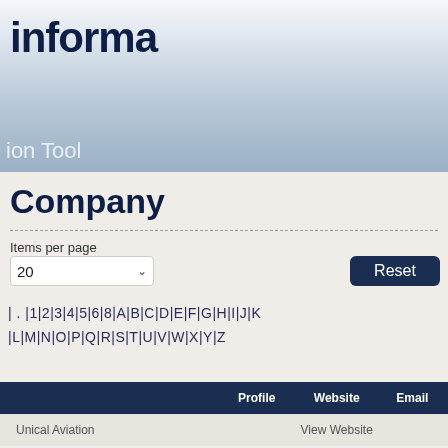informa
ion Tool
Company
Items per page
20
Reset
| . |1|2|3|4|5|6|8|A|B|C|D|E|F|G|H|I|J|K |L|M|N|O|P|Q|R|S|T|U|V|W|X|Y|Z
|  | Profile | Website | Email |
| --- | --- | --- | --- |
| Unical Aviation |  | View Website |  |